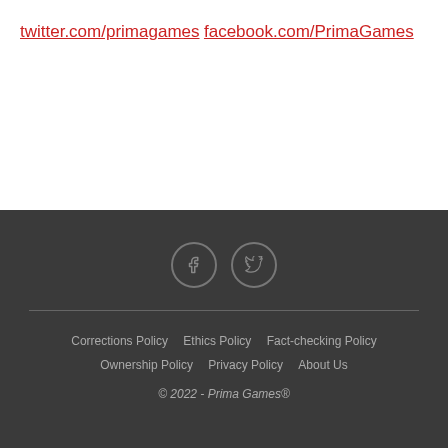twitter.com/primagames
facebook.com/PrimaGames
[Figure (illustration): Two circular social media icons: Facebook (f) and Twitter (bird), dark background with gray border outlines]
Corrections Policy   Ethics Policy   Fact-checking Policy   Ownership Policy   Privacy Policy   About Us
© 2022 - Prima Games®